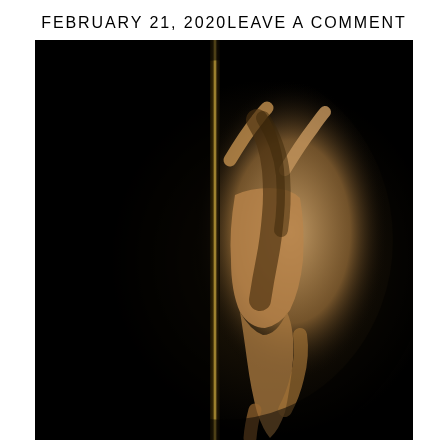FEBRUARY 21, 2020  LEAVE A COMMENT
[Figure (photo): Artistic fine-art nude photograph of a woman holding a vertical pole against a dark black background, illuminated with warm light, posed in a dance-like stance.]